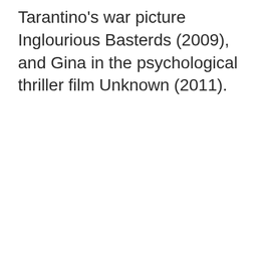Tarantino's war picture Inglourious Basterds (2009), and Gina in the psychological thriller film Unknown (2011).